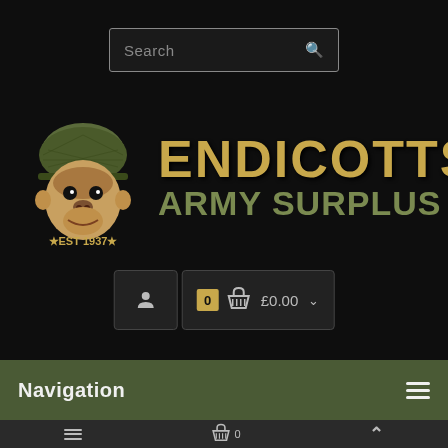[Figure (logo): Endicotts Army Surplus website header with gorilla mascot in military helmet, golden 'ENDICOTTS' text, olive 'Army Surplus' subtext, EST 1937 badge, search bar, account and cart buttons, navigation bar]
Search
ENDICOTTS Army Surplus
★EST 1937★
£0.00
Navigation